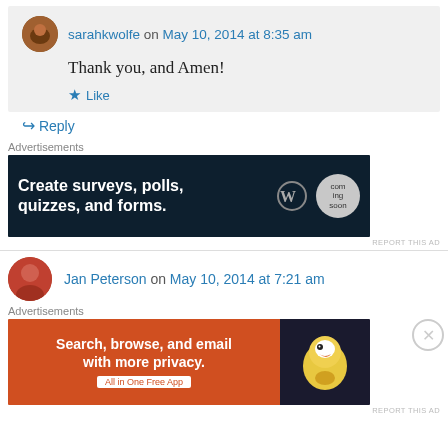sarahkwolfe on May 10, 2014 at 8:35 am
Thank you, and Amen!
Like
Reply
[Figure (other): Dark navy advertisement banner: Create surveys, polls, quizzes, and forms. WordPress logo and 'coming soon' badge.]
REPORT THIS AD
Jan Peterson on May 10, 2014 at 7:21 am
[Figure (other): Orange advertisement banner: Search, browse, and email with more privacy. All in One Free App. DuckDuckGo logo.]
REPORT THIS AD